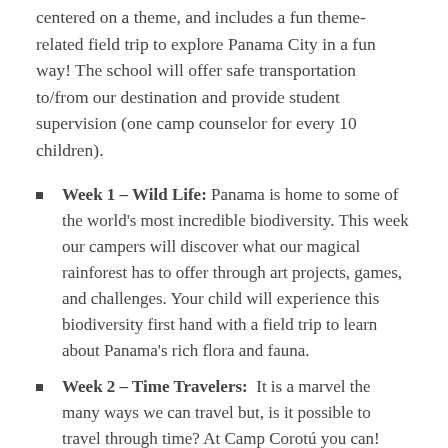centered on a theme, and includes a fun theme-related field trip to explore Panama City in a fun way! The school will offer safe transportation to/from our destination and provide student supervision (one camp counselor for every 10 children).
Week 1 – Wild Life: Panama is home to some of the world's most incredible biodiversity. This week our campers will discover what our magical rainforest has to offer through art projects, games, and challenges. Your child will experience this biodiversity first hand with a field trip to learn about Panama's rich flora and fauna.
Week 2 – Time Travelers: It is a marvel the many ways we can travel but, is it possible to travel through time? At Camp Corotú you can! Your child will engage in theatrical activities, traveling through decades past